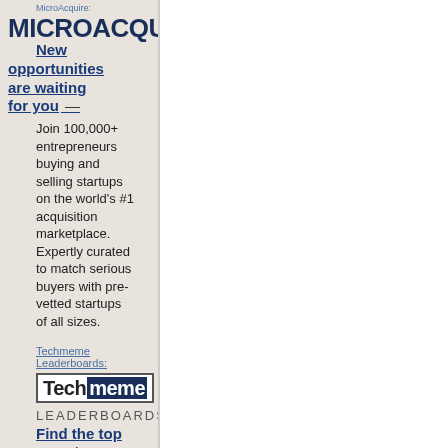MicroAcquire:
[Figure (logo): MICROACQUIRE logo in large bold dark navy text]
New opportunities are waiting for you — Join 100,000+ entrepreneurs buying and selling startups on the world's #1 acquisition marketplace. Expertly curated to match serious buyers with pre-vetted startups of all sizes.
Techmeme Leaderboards:
[Figure (logo): Techmeme logo with Tech in black and meme in white on dark blue background, bordered box]
LEADERBOARDS
Find the top reporters on AI, NFTs,